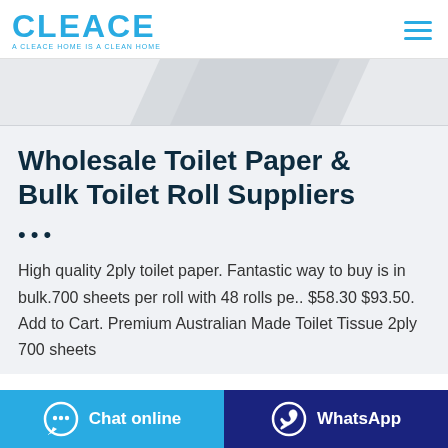CLEACE — A CLEACE HOME IS A CLEAN HOME
[Figure (photo): Partial image of toilet paper roll, light gray background]
Wholesale Toilet Paper & Bulk Toilet Roll Suppliers
...
High quality 2ply toilet paper. Fantastic way to buy is in bulk.700 sheets per roll with 48 rolls pe.. $58.30 $93.50. Add to Cart. Premium Australian Made Toilet Tissue 2ply 700 sheets